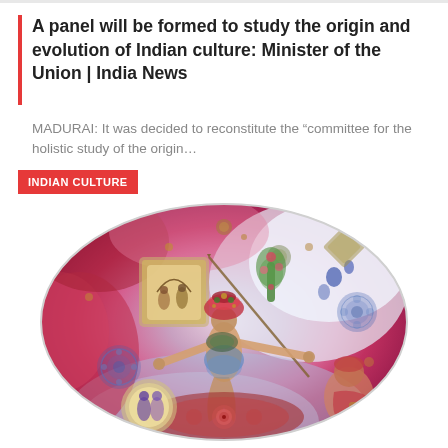A panel will be formed to study the origin and evolution of Indian culture: Minister of the Union | India News
MADURAI: It was decided to reconstitute the “committee for the holistic study of the origin…
[Figure (illustration): Oval-framed colorful Indian cultural art collage depicting a dancer in ornate headdress surrounded by traditional Indian miniature paintings, decorative mandalas, and vibrant pink, red, and blue watercolor background.]